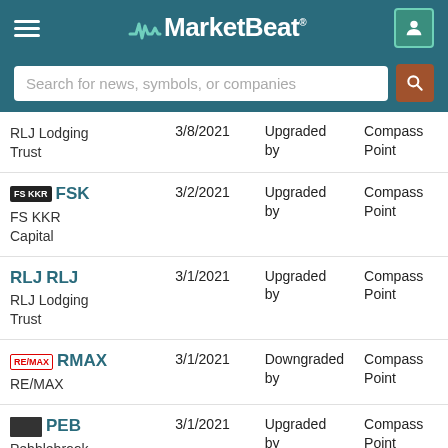MarketBeat
Search for news, symbols, or companies
| Company | Date | Action | Analyst |
| --- | --- | --- | --- |
| RLJ Lodging Trust | 3/8/2021 | Upgraded by | Compass Point |
| FSK / FS KKR Capital | 3/2/2021 | Upgraded by | Compass Point |
| RLJ / RLJ Lodging Trust | 3/1/2021 | Upgraded by | Compass Point |
| RMAX / RE/MAX | 3/1/2021 | Downgraded by | Compass Point |
| PEB / Pebblebrook Hotel Trust | 3/1/2021 | Upgraded by | Compass Point |